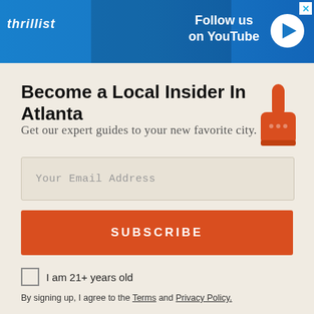[Figure (screenshot): Thrillist advertisement banner with blue background showing 'Follow us on YouTube' with play button and person]
Become a Local Insider In Atlanta
Get our expert guides to your new favorite city.
[Figure (illustration): Orange foam finger pointing upward]
Your Email Address
SUBSCRIBE
I am 21+ years old
By signing up, I agree to the Terms and Privacy Policy.
ADVERTISEMENT
[Figure (screenshot): Bottom advertisement banner with light blue background showing a hot dog illustration]